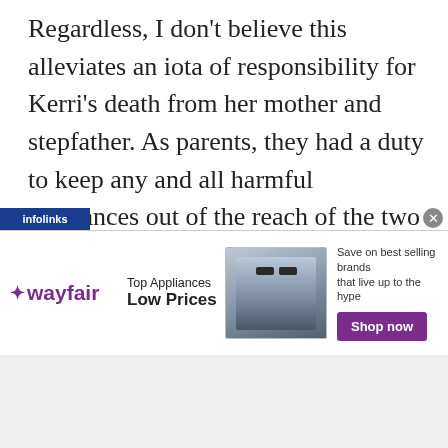Regardless, I don't believe this alleviates an iota of responsibility for Kerri's death from her mother and stepfather. As parents, they had a duty to keep any and all harmful substances out of the reach of the two young children in their care. For quite some time in my house, every medication stronger than Tums was kept in a locked filing cabinet, the key hidden where only I could find it; there was no way in hell my kids were getting their hands on anything that could potentially
[Figure (infographic): Wayfair advertisement banner: 'Top Appliances Low Prices' with image of a stove/range appliance and 'Save on best selling brands that live up to the hype' with a purple 'Shop now' button. Infolinks label bar at top-left.]